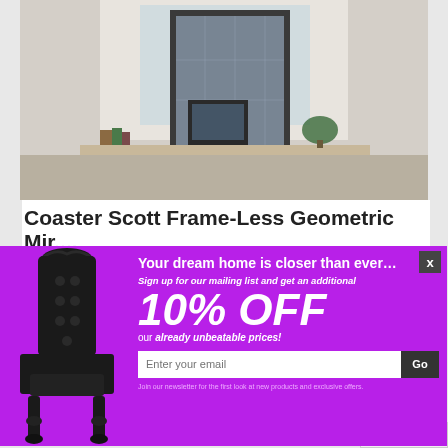[Figure (photo): Product photo of a frameless geometric mirror in a room setting, showing a desk with computer and plants]
Coaster Scott Frame-Less Geometric Mir....
[Figure (infographic): Purple modal popup advertisement for a furniture website. Features a large black ornate throne chair on the left, text reading 'Your dream home is closer than ever... Sign up for our mailing list and get an additional 10% OFF our already unbeatable prices!' with an email input field and Go button, and fine print about newsletter.]
Your dream home is closer than ever…
Sign up for our mailing list and get an additional
10% OFF
our already unbeatable prices!
Enter your email
Join our newsletter for the first look at new products and exclusive offers.